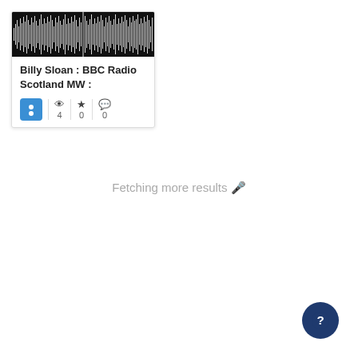[Figure (other): Audio waveform visualization on black background with white spike pattern]
Billy Sloan : BBC Radio Scotland MW :
4  0  0
Fetching more results 🎤
[Figure (other): Dark blue circular help/question mark button]